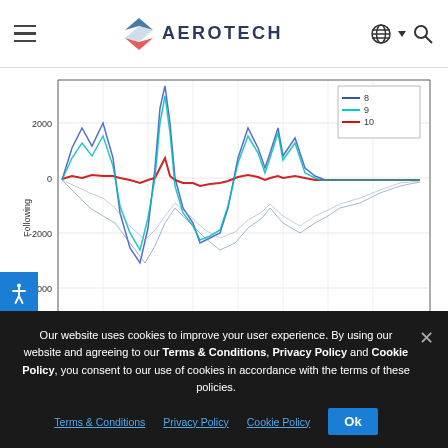AEROTECH
[Figure (continuous-plot): Multi-line time series chart showing Following Error vs Time (ms). Y-axis ranges from -4000 to ~2500 (Following). X-axis from 1 to 400 ms. Legend shows series 8 (blue), 9 (cyan), 10 (red). Multiple oscillating curves that dampen over time.]
Iterative Learning Control: Optimize move time
[Figure (continuous-plot): Partial view of a second chart, y-axis showing values 0.8 and 1]
Our website uses cookies to improve your user experience. By using our website and agreeing to our Terms & Conditions, Privacy Policy and Cookie Policy, you consent to our use of cookies in accordance with the terms of these policies.
Terms & Conditions   Privacy Policy   Cookie Policy   Ok